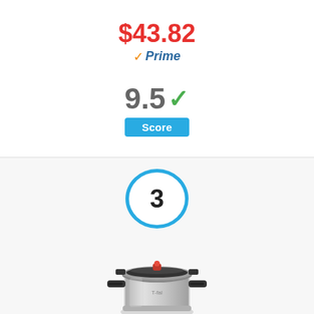$43.82
Prime
9.5 ✓
Score
[Figure (infographic): Number 3 inside a teal/blue circle, representing a product rank badge]
[Figure (photo): A stainless steel pressure cooker (T-fal brand) with black handles and a red pressure valve on top]